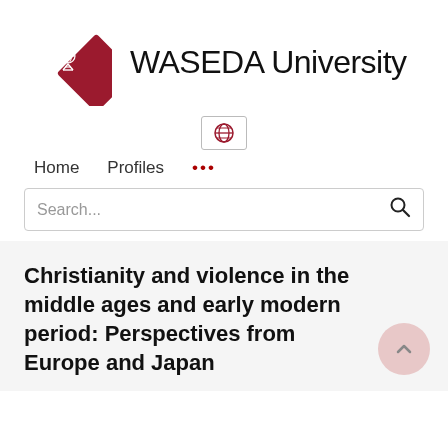[Figure (logo): Waseda University logo with red diamond shape containing a white emblem and the text WASEDA University]
[Figure (other): Globe/language selection button icon in a bordered box]
Home   Profiles   ...
Search...
Christianity and violence in the middle ages and early modern period: Perspectives from Europe and Japan